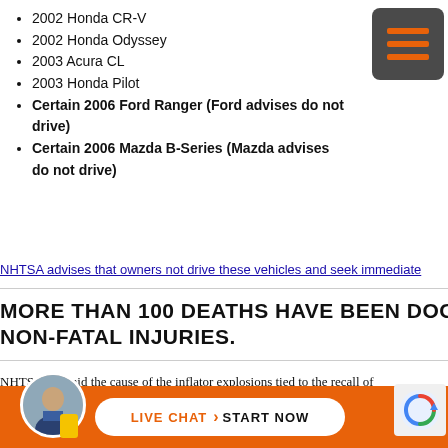2002 Honda CR-V
2002 Honda Odyssey
2003 Acura CL
2003 Honda Pilot
Certain 2006 Ford Ranger (Ford advises do not drive)
Certain 2006 Mazda B-Series (Mazda advises do not drive)
NHTSA advises that owners not drive these vehicles and seek immediate
MORE THAN 100 DEATHS HAVE BEEN DOCUMENTED WORL NON-FATAL INJURIES.
NHTSA has said the cause of the inflator explosions tied to the recall of breaking down after long term exposure to high temperature fluctuati such as Florida are susceptible to such climate factors.